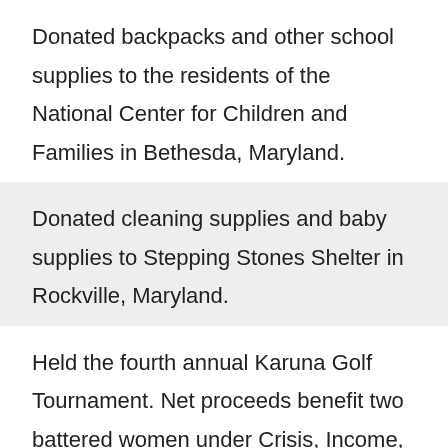Donated backpacks and other school supplies to the residents of the National Center for Children and Families in Bethesda, Maryland.
Donated cleaning supplies and baby supplies to Stepping Stones Shelter in Rockville, Maryland.
Held the fourth annual Karuna Golf Tournament. Net proceeds benefit two battered women under Crisis, Income, and